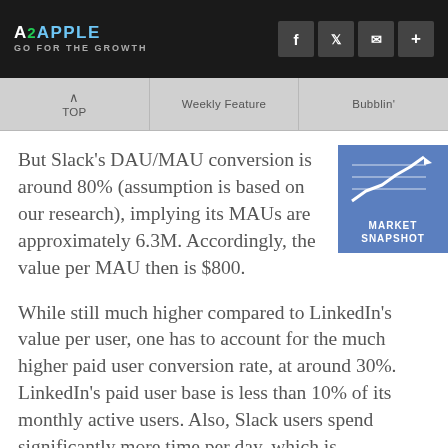A2APPLE GO FOR THE GROWTH
TOP | Weekly Feature | Bubblin'
But Slack's DAU/MAU conversion is around 80% (assumption is based on our research), implying its MAUs are approximately 6.3M. Accordingly, the value per MAU then is $800.
[Figure (infographic): Market Snapshot badge — blue square with upward trending line chart icon and text 'MARKET SNAPSHOT']
While still much higher compared to LinkedIn's value per user, one has to account for the much higher paid user conversion rate, at around 30%. LinkedIn's paid user base is less than 10% of its monthly active users. Also, Slack users spend significantly more time per day, which is